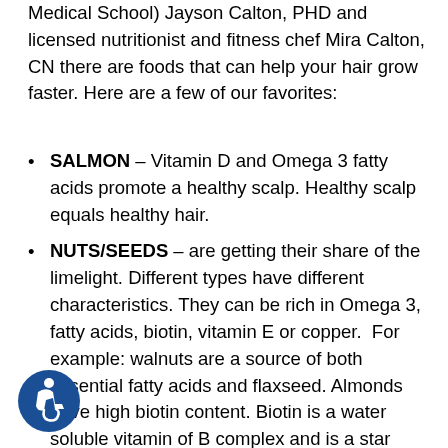Medical School) Jayson Calton, PHD and licensed nutritionist and fitness chef Mira Calton, CN there are foods that can help your hair grow faster. Here are a few of our favorites:
SALMON – Vitamin D and Omega 3 fatty acids promote a healthy scalp. Healthy scalp equals healthy hair.
NUTS/SEEDS – are getting their share of the limelight. Different types have different characteristics. They can be rich in Omega 3, fatty acids, biotin, vitamin E or copper. For example: walnuts are a source of both essential fatty acids and flaxseed. Almonds have high biotin content. Biotin is a water soluble vitamin of B complex and is a star element which helps keep your hair shiny and lustrous. One cup of almonds contains almost one third of your daily requirement. Sunflower seeds can provide you with an abundance of Vitamin E that enhances blood flow to the scalp promoting faster hair growth. These vitamins also protect your hair against damage from the sun and act as a shield when you venture out.
[Figure (illustration): Accessibility icon: blue circle with white wheelchair user symbol]